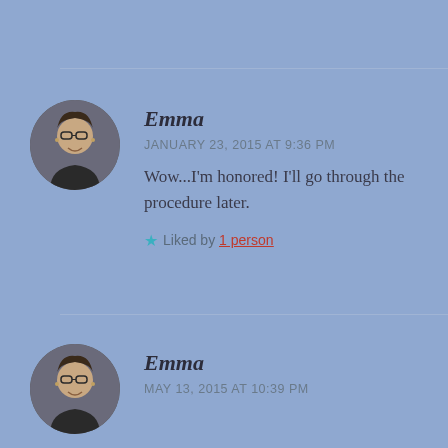[Figure (photo): Circular avatar photo of Emma, a person wearing glasses and a dark shirt, smiling]
Emma
JANUARY 23, 2015 AT 9:36 PM
Wow...I'm honored! I'll go through the procedure later.
★ Liked by 1 person
[Figure (photo): Circular avatar photo of Emma, a person wearing glasses and a dark shirt, smiling]
Emma
MAY 13, 2015 AT 10:39 PM